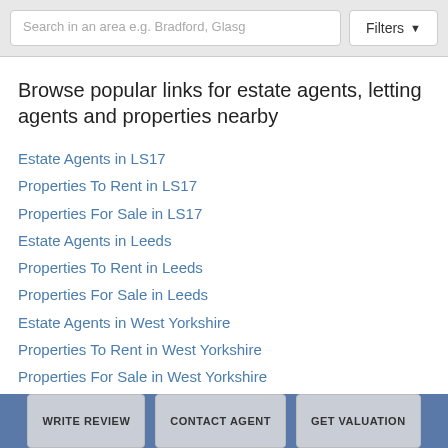Search in an area e.g. Bradford, Glasg | Filters
Browse popular links for estate agents, letting agents and properties nearby
Estate Agents in LS17
Properties To Rent in LS17
Properties For Sale in LS17
Estate Agents in Leeds
Properties To Rent in Leeds
Properties For Sale in Leeds
Estate Agents in West Yorkshire
Properties To Rent in West Yorkshire
Properties For Sale in West Yorkshire
WRITE REVIEW | CONTACT AGENT | GET VALUATION